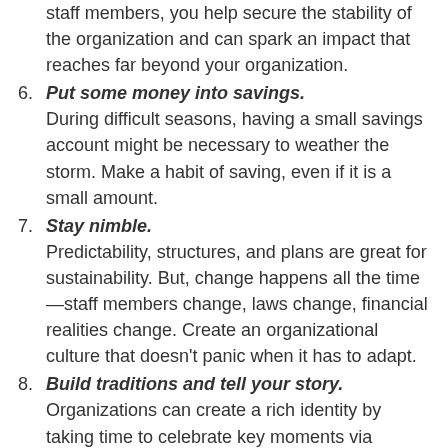staff members, you help secure the stability of the organization and can spark an impact that reaches far beyond your organization.
6. Put some money into savings. During difficult seasons, having a small savings account might be necessary to weather the storm. Make a habit of saving, even if it is a small amount.
7. Stay nimble. Predictability, structures, and plans are great for sustainability. But, change happens all the time—staff members change, laws change, financial realities change. Create an organizational culture that doesn't panic when it has to adapt.
8. Build traditions and tell your story. Organizations can create a rich identity by taking time to celebrate key moments via traditions. Create opportunities to reflect on